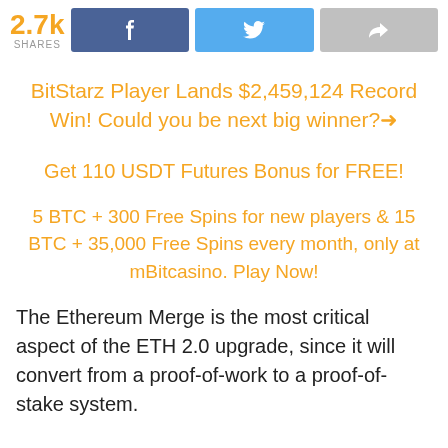[Figure (other): Social share bar with 2.7k shares count, Facebook button, Twitter button, and generic share button]
BitStarz Player Lands $2,459,124 Record Win! Could you be next big winner?→
Get 110 USDT Futures Bonus for FREE!
5 BTC + 300 Free Spins for new players & 15 BTC + 35,000 Free Spins every month, only at mBitcasino. Play Now!
The Ethereum Merge is the most critical aspect of the ETH 2.0 upgrade, since it will convert from a proof-of-work to a proof-of-stake system.